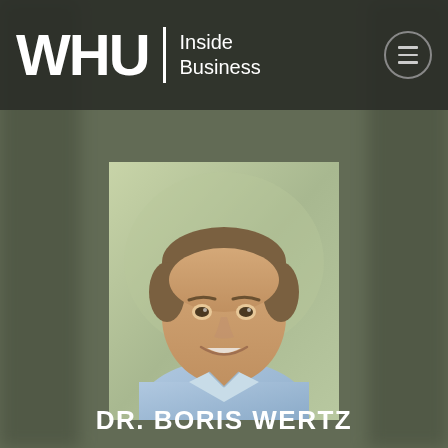WHU | Inside Business
[Figure (photo): Portrait photo of Dr. Boris Wertz, a middle-aged man with short brown hair, smiling, wearing a light blue collared shirt, against a soft green/beige background.]
DR. BORIS WERTZ